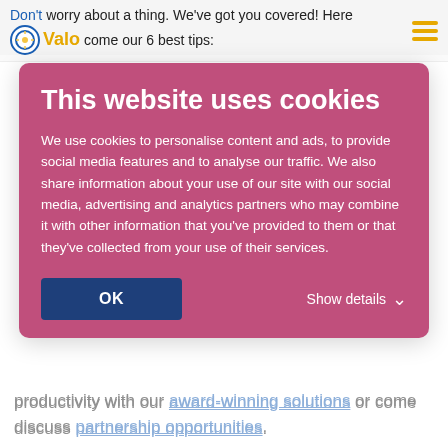Don't worry about a thing. We've got you covered! Here come our 6 best tips:
[Figure (screenshot): Cookie consent modal dialog with pink/magenta background. Title: 'This website uses cookies'. Body text explaining cookie usage. OK button (dark blue) and 'Show details' link.]
productivity with our award-winning solutions or come discuss partnership opportunities.
3. Expand your knowledge and skills
Make sure to check out the speaker sessions held by our MVPs' Elio Struyf, Sébastien Levert, Vlad Catrinescu, and